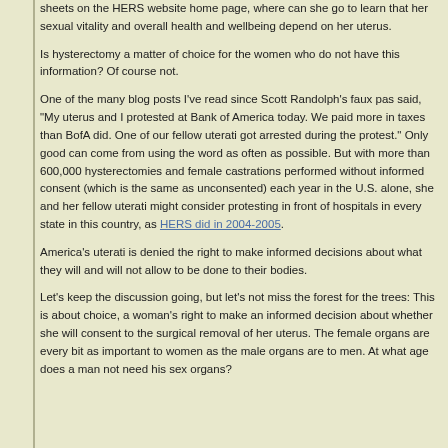sheets on the HERS website home page, where can she go to learn that her sexual vitality and overall health and wellbeing depend on her uterus.
Is hysterectomy a matter of choice for the women who do not have this information? Of course not.
One of the many blog posts I've read since Scott Randolph's faux pas said, "My uterus and I protested at Bank of America today. We paid more in taxes than BofA did. One of our fellow uterati got arrested during the protest." Only good can come from using the word as often as possible. But with more than 600,000 hysterectomies and female castrations performed without informed consent (which is the same as unconsented) each year in the U.S. alone, she and her fellow uterati might consider protesting in front of hospitals in every state in this country, as HERS did in 2004-2005.
America's uterati is denied the right to make informed decisions about what they will and will not allow to be done to their bodies.
Let's keep the discussion going, but let's not miss the forest for the trees: This is about choice, a woman's right to make an informed decision about whether she will consent to the surgical removal of her uterus. The female organs are every bit as important to women as the male organs are to men. At what age does a man not need his sex organs?